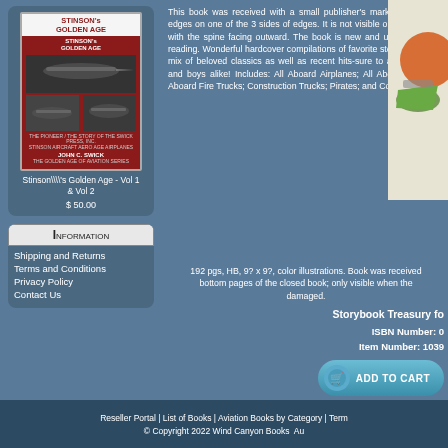[Figure (photo): Book cover of Stinson's Golden Age Vol 1 & Vol 2 by John C. Swick]
Stinson\\'s Golden Age - Vol 1 & Vol 2
$ 50.00
Information
Shipping and Returns
Terms and Conditions
Privacy Policy
Contact Us
This book was received with a small publisher’s mark on the page edges on one of the 3 sides of edges. It is not visible on a book shelf with the spine facing outward. The book is new and undamaged for reading. Wonderful hardcover compilations of favorite stories include a mix of beloved classics as well as recent hits-sure to appeal to girls and boys alike! Includes: All Aboard Airplanes; All Aboard Cars; All Aboard Fire Trucks; Construction Trucks; Pirates; and Cowboys.
192 pgs, HB, 9? x 9?, color illustrations. Book was received with a publisher’s mark on the bottom pages of the closed book; only visible when the book is closed. Book is new and undamaged.
Storybook Treasury fo
ISBN Number: 0
Item Number: 1039
ADD TO CART
Reseller Portal | List of Books | Aviation Books by Category | Term
© Copyright 2022 Wind Canyon Books  Au